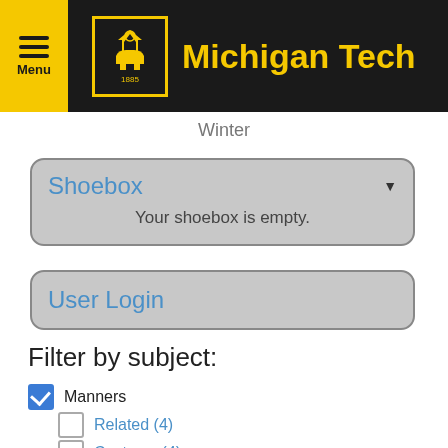Michigan Tech
Winter
Shoebox
Your shoebox is empty.
User Login
Filter by subject:
Manners (checked)
Related (4)
Customs (4)
Seasons (4)
Wildlife (4)
Winter (checked)
Recreation (checked)
Hunting (checked)